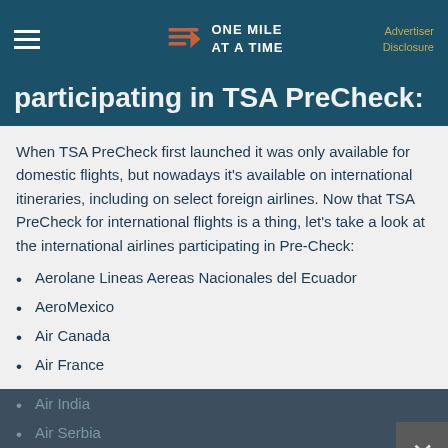ONE MILE AT A TIME | Advertiser Disclosure
participating in TSA PreCheck:
When TSA PreCheck first launched it was only available for domestic flights, but nowadays it's available on international itineraries, including on select foreign airlines. Now that TSA PreCheck for international flights is a thing, let's take a look at the international airlines participating in Pre-Check:
Aerolane Lineas Aereas Nacionales del Ecuador
AeroMexico
Air Canada
Air France
Air India
Air Serbia
Alitalia